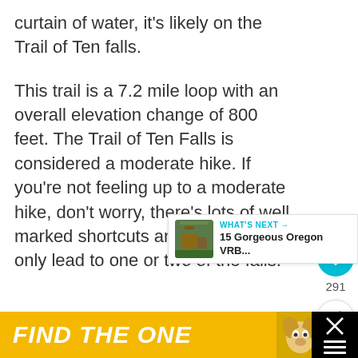curtain of water, it's likely on the Trail of Ten falls.
This trail is a 7.2 mile loop with an overall elevation change of 800 feet. The Trail of Ten Falls is considered a moderate hike. If you're not feeling up to a moderate hike, don't worry, there's lots of well marked shortcuts and trails that only lead to one or two of the falls.
[Figure (infographic): UI overlay: teal heart/like button, count '291', and share button on the right side; 'WHAT'S NEXT' card with thumbnail image and text '15 Gorgeous Oregon VRB...']
[Figure (infographic): Advertisement banner: black background with yellow/gold section showing 'FIND THE ONE' in large white italic bold text, a dog photo, and a close X button on the right]